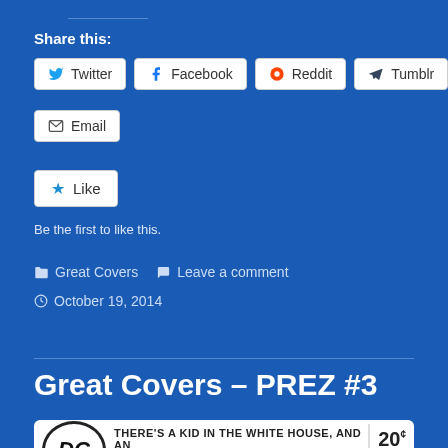Share this:
Twitter  Facebook  Reddit  Tumblr  Email
Like
Be the first to like this.
Great Covers   Leave a comment   October 19, 2014
Great Covers – PREZ #3
[Figure (other): DC Comics banner showing 'THERE'S A KID IN THE WHITE HOUSE, AND AN ASSASSIN AT LARGE!' with DC logo and price 20¢ No.3 Jan]